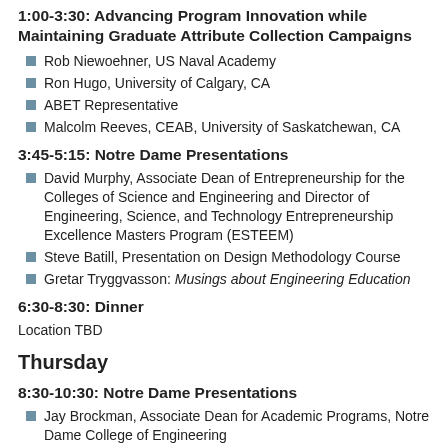1:00-3:30: Advancing Program Innovation while Maintaining Graduate Attribute Collection Campaigns
Rob Niewoehner, US Naval Academy
Ron Hugo, University of Calgary, CA
ABET Representative
Malcolm Reeves, CEAB, University of Saskatchewan, CA
3:45-5:15: Notre Dame Presentations
David Murphy, Associate Dean of Entrepreneurship for the Colleges of Science and Engineering and Director of Engineering, Science, and Technology Entrepreneurship Excellence Masters Program (ESTEEM)
Steve Batill, Presentation on Design Methodology Course
Gretar Tryggvasson: Musings about Engineering Education
6:30-8:30: Dinner
Location TBD
Thursday
8:30-10:30: Notre Dame Presentations
Jay Brockman, Associate Dean for Academic Programs, Notre Dame College of Engineering
Robert L. Alworth, Director of Integrated Engineering and Business Practices Curriculum